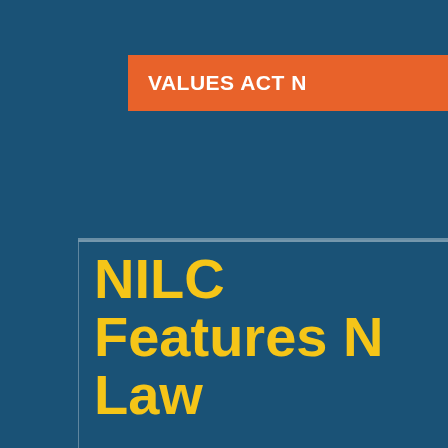VALUES ACT N
NILC Features N Law
[Figure (logo): National Immigration Law Center logo placeholder image]
The incredible campaign behind t agreements, renewals, and expan